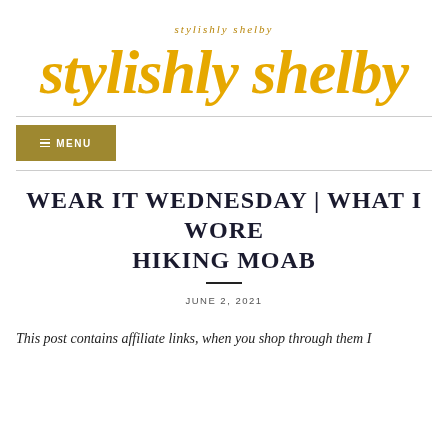[Figure (logo): Stylishly Shelby blog logo in golden yellow cursive script on white background]
≡ MENU
WEAR IT WEDNESDAY | WHAT I WORE HIKING MOAB
JUNE 2, 2021
This post contains affiliate links, when you shop through them I